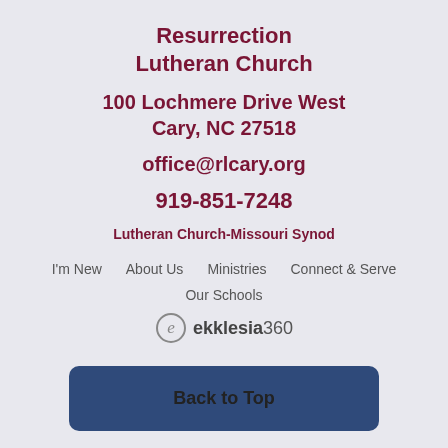Resurrection Lutheran Church
100 Lochmere Drive West
Cary, NC 27518
office@rlcary.org
919-851-7248
Lutheran Church-Missouri Synod
I'm New
About Us
Ministries
Connect & Serve
Our Schools
[Figure (logo): ekklesia360 logo with circular E icon]
Back to Top